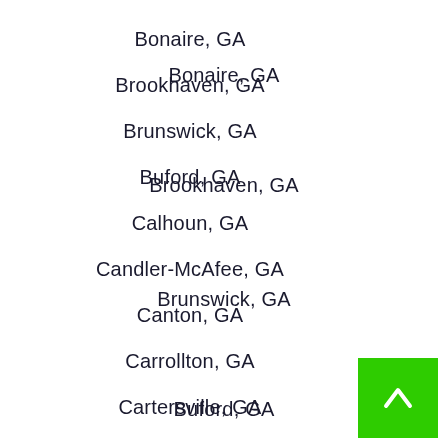Bonaire, GA
Brookhaven, GA
Brunswick, GA
Buford, GA
Calhoun, GA
Candler-McAfee, GA
Canton, GA
Carrollton, GA
Cartersville, GA